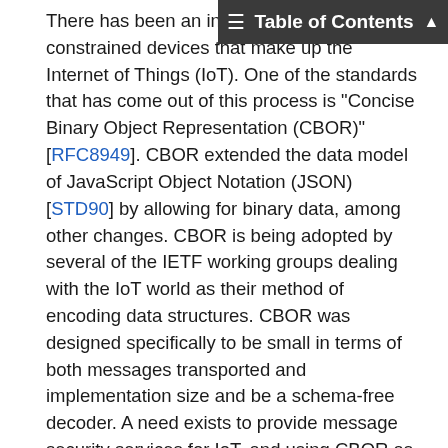Table of Contents
There has been an increased focus on small, constrained devices that make up the Internet of Things (IoT). One of the standards that has come out of this process is "Concise Binary Object Representation (CBOR)" [RFC8949]. CBOR extended the data model of JavaScript Object Notation (JSON) [STD90] by allowing for binary data, among other changes. CBOR is being adopted by several of the IETF working groups dealing with the IoT world as their method of encoding data structures. CBOR was designed specifically to be small in terms of both messages transported and implementation size and be a schema-free decoder. A need exists to provide message security services for IoT, and using CBOR as the message-encoding format makes sense.
The core COSE specification consists of two documents. [RFC9052] contains the serialization structures and the procedures for using the different cryptographic algorithms. This document provides an initial set of algorithms for use with those structures.